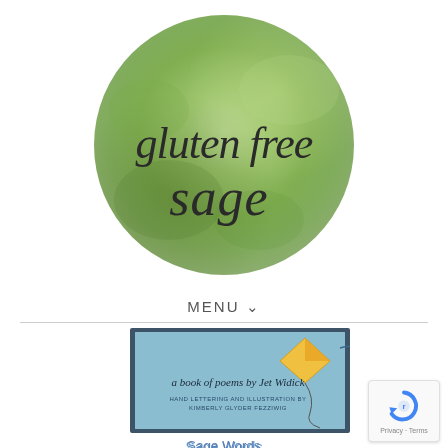[Figure (logo): Circular green watercolor logo with cursive script text reading 'gluten free sage']
MENU ∨
[Figure (photo): Book cover showing 'a book of poems by Jet Widick' with hand lettering and illustration, teal/blue background with a kite illustration]
Sage Words